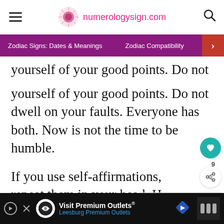numerologysign.com
Zodiac Signs: Dates & Meanings   Zodiac Compatibility
yourself of your good points. Do not dwell on your faults. Everyone has both. Now is not the time to be humble.
If you use self-affirmations, repeat them in your head. Have fun and boast a little. Rea… it is ok! He will love it.
WHAT'S NEXT → How To Make an Aries Ma…
Visit Premium Outlets® Leesburg Premium Outlets